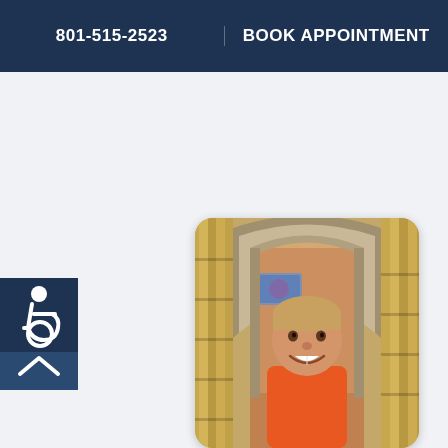801-515-2523 | BOOK APPOINTMENT
[Figure (photo): Photo of a smiling young boy in an orange shirt, framed by a bamboo and stone arch structure in a pediatric clinic waiting area]
[Figure (other): Accessibility icon badge (wheelchair symbol) in dark navy, bottom left corner with scroll-up arrow]